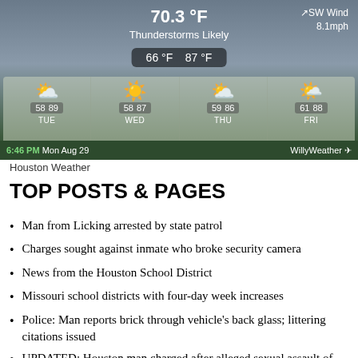[Figure (screenshot): Weather widget showing 70.3°F, Thunderstorms Likely, SW Wind 8.1mph, with 4-day forecast for TUE-FRI, and WillyWeather branding. Time shown: 6:46 PM Mon Aug 29.]
Houston Weather
TOP POSTS & PAGES
Man from Licking arrested by state patrol
Charges sought against inmate who broke security camera
News from the Houston School District
Missouri school districts with four-day week increases
Police: Man reports brick through vehicle's back glass; littering citations issued
UPDATED: Houston man charged after alleged sexual assault of woman